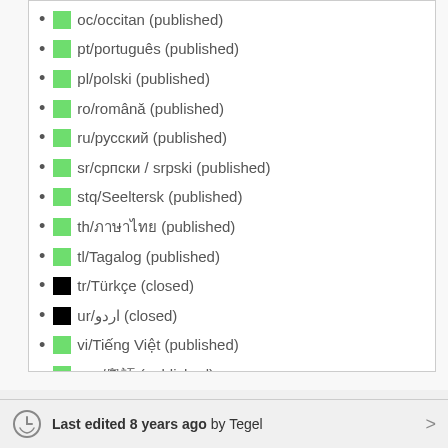oc/occitan (published)
pt/português (published)
pl/polski (published)
ro/română (published)
ru/русский (published)
sr/српски / srpski (published)
stq/Seeltersk (published)
th/ภาษาไทย (published)
tl/Tagalog (published)
tr/Türkçe (closed)
ur/اردو (closed)
vi/Tiếng Việt (published)
yue/粵語 (published)
zh-hans/中文（简体）(published)
zh-hant/中文（繁體）(published)
Last edited 8 years ago by Tegel